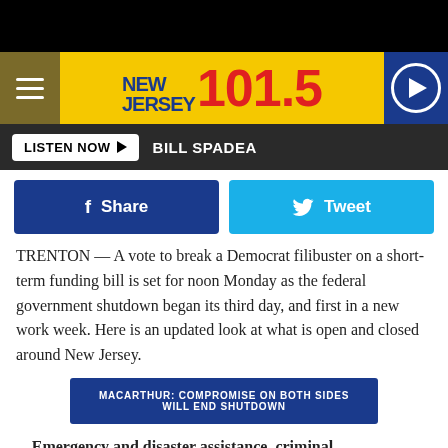NEW JERSEY 101.5 | LISTEN NOW | BILL SPADEA
[Figure (logo): New Jersey 101.5 radio station logo on yellow background with hamburger menu and play button]
LISTEN NOW ▶  BILL SPADEA
[Figure (other): Share and Tweet social media buttons]
TRENTON — A vote to break a Democrat filibuster on a short-term funding bill is set for noon Monday as the federal government shutdown began its third day, and first in a new work week. Here is an updated look at what is open and closed around New Jersey.
MACARTHUR: COMPROMISE ON BOTH SIDES WILL END SHUTDOWN
Emergency and disaster assistance, criminal